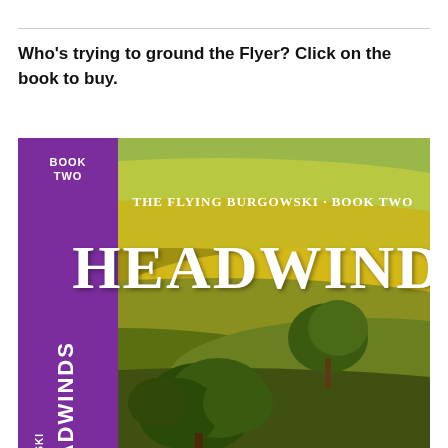Who's trying to ground the Flyer? Click on the book to buy.
[Figure (illustration): Book cover for 'Headwinds: The Flying Burgowski Book Two'. Purple spine on the left reads 'BOOK TWO', 'HEADWINDS', 'THE FLYING BURGOWSKI' vertically. The main cover shows an aerial photograph of rolling farmland with green and golden fields and trees. Large white serif text reads 'THE FLYING BURGOWSKI · BOOK TWO' and 'HEADWINDS'.]